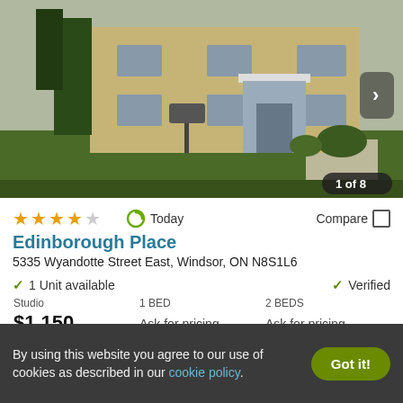[Figure (photo): Exterior photo of Edinborough Place apartment building, brick construction with lawn and landscaping, image counter showing 1 of 8]
★★★★☆  Today  Compare
Edinborough Place
5335 Wyandotte Street East, Windsor, ON N8S1L6
✓ 1 Unit available   ✓ Verified
| Studio | 1 BED | 2 BEDS |
| --- | --- | --- |
| $1,150 | Ask for pricing | Ask for pricing |
View Details   Contact Property
By using this website you agree to our use of cookies as described in our cookie policy.